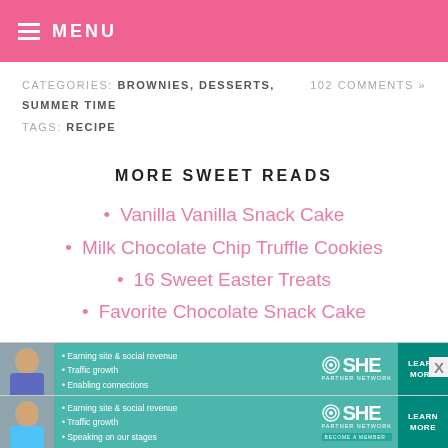MENU
CATEGORIES: BROWNIES, DESSERTS, SUMMER TIME    102 COMMENTS »
TAGS: RECIPE
MORE SWEET READS
Vanilla Vanilla Snack Cake
Milk Chocolate Chip Truffle Cookies
16 Sweet Easter Treats
Favorite Chocolate Snack Cake
[Figure (infographic): SHE Partner Network advertisement banner with photo of woman, bullet points: Earning site & social revenue, Traffic growth, Speaking on our stages. LEARN MORE button. Appears twice (duplicate ad).]